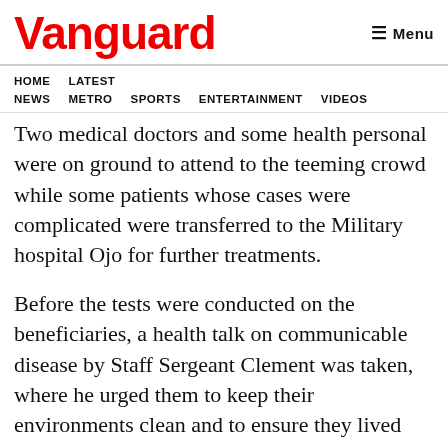Vanguard
HOME  LATEST NEWS  METRO  SPORTS  ENTERTAINMENT  VIDEOS
Two medical doctors and some health personal were on ground to attend to the teeming crowd while some patients whose cases were complicated were transferred to the Military hospital Ojo for further treatments.
Before the tests were conducted on the beneficiaries, a health talk on communicable disease by Staff Sergeant Clement was taken, where he urged them to keep their environments clean and to ensure they lived healthy.